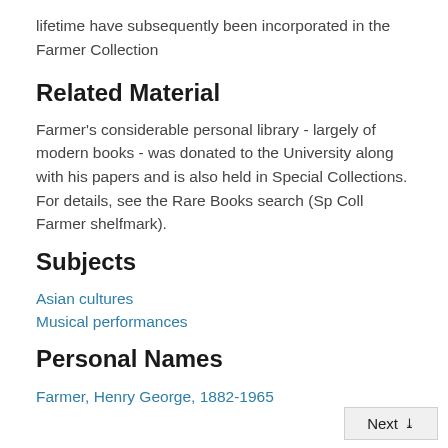lifetime have subsequently been incorporated in the Farmer Collection
Related Material
Farmer's considerable personal library - largely of modern books - was donated to the University along with his papers and is also held in Special Collections. For details, see the Rare Books search (Sp Coll Farmer shelfmark).
Subjects
Asian cultures
Musical performances
Personal Names
Farmer, Henry George, 1882-1965
Next »